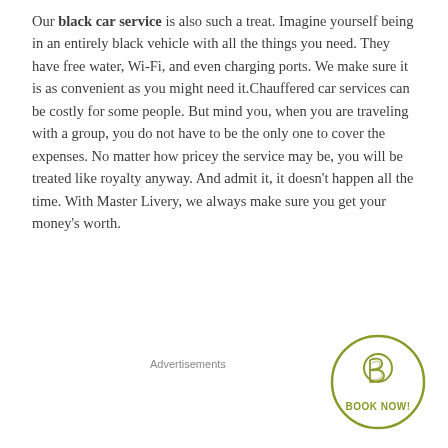Our black car service is also such a treat. Imagine yourself being in an entirely black vehicle with all the things you need. They have free water, Wi-Fi, and even charging ports. We make sure it is as convenient as you might need it.Chauffered car services can be costly for some people. But mind you, when you are traveling with a group, you do not have to be the only one to cover the expenses. No matter how pricey the service may be, you will be treated like royalty anyway. And admit it, it doesn't happen all the time. With Master Livery, we always make sure you get your money's worth.
Advertisements
[Figure (logo): Circular green-outlined button with a stylized B logo icon and text 'BOOK NOW!' in olive/green color]